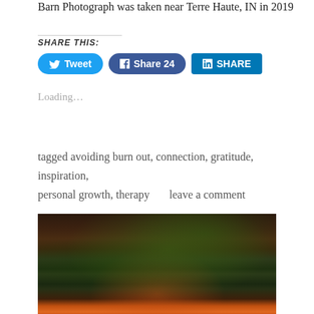Barn Photograph was taken near Terre Haute, IN in 2019
SHARE THIS:
[Figure (screenshot): Social share buttons: Tweet (Twitter), Share 24 (Facebook), SHARE (LinkedIn)]
Loading…
tagged avoiding burn out, connection, gratitude, inspiration, personal growth, therapy     leave a comment
[Figure (photo): Close-up photograph of orange flower with dark green leaves and dark soil background]